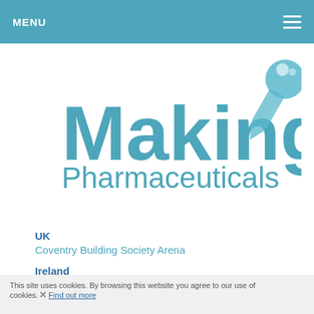MENU
[Figure (logo): Making Pharmaceuticals logo with stylized dropper/pipette icon and teal text]
UK
Coventry Building Society Arena
Ireland
RDS, Dublin
Italy
NH Centro Congressi, Milano
This site uses cookies. By browsing this website you agree to our use of cookies. Find out more